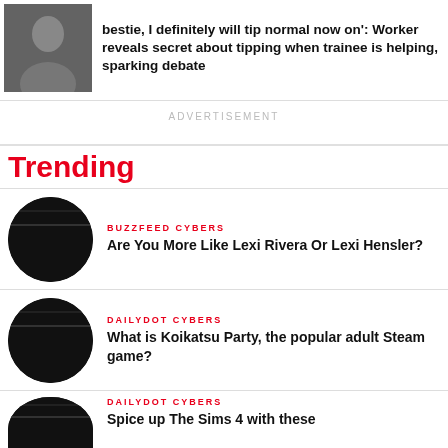[Figure (photo): Thumbnail photo of a woman in a dark top]
bestie, I definitely will tip normal now on': Worker reveals secret about tipping when trainee is helping, sparking debate
ADVERTISEMENT
Trending
[Figure (photo): Dark circular thumbnail image]
BUZZFEED CYBERS
Are You More Like Lexi Rivera Or Lexi Hensler?
[Figure (photo): Dark circular thumbnail image]
DAILYDOT CYBERS
What is Koikatsu Party, the popular adult Steam game?
[Figure (photo): Dark circular thumbnail image (partially shown)]
DAILYDOT CYBERS
Spice up The Sims 4 with these